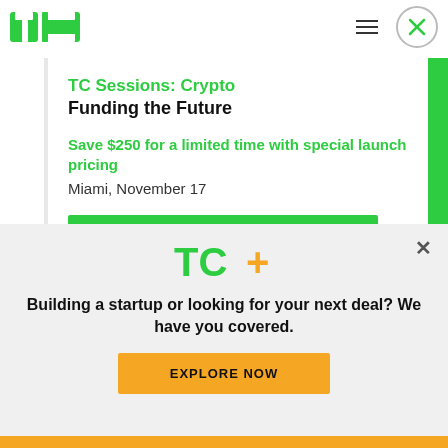[Figure (logo): TechCrunch TC logo in green]
[Figure (other): Hamburger menu icon and close button circle with X]
TC Sessions: Crypto
Funding the Future
Save $250 for a limited time with special launch pricing
Miami, November 17
Book Now
[Figure (logo): TC+ logo in green with orange plus sign]
Building a startup or looking for your next deal? We have you covered.
EXPLORE NOW